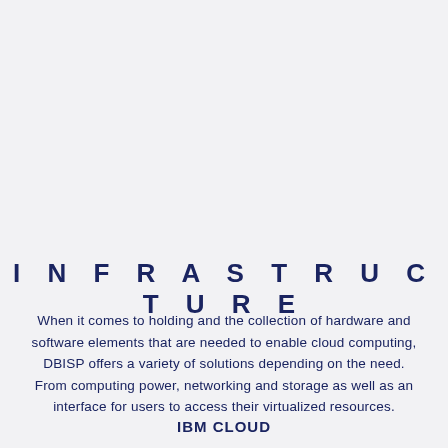INFRASTRUCTURE
When it comes to holding and the collection of hardware and software elements that are needed to enable cloud computing, DBISP offers a variety of solutions depending on the need. From computing power, networking and storage as well as an interface for users to access their virtualized resources.
IBM CLOUD